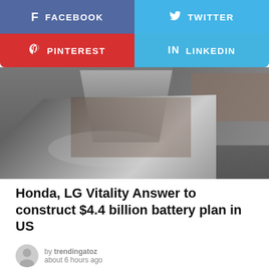[Figure (infographic): Social sharing buttons: Facebook (blue), Twitter (light blue), Pinterest (red), LinkedIn (light blue)]
[Figure (photo): Automotive factory worker assembling a car body panel, industrial setting with shelving and equipment in background]
Honda, LG Vitality Answer to construct $4.4 billion battery plan in US
by trendingatoz
about 6 hours ago
[Figure (photo): Bottom preview image showing people, partially cropped, with 'ALC' text visible]